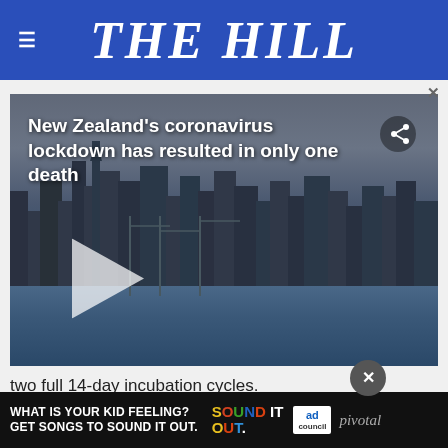THE HILL
[Figure (screenshot): Video thumbnail showing Auckland, New Zealand city skyline with harbor, with overlay text 'New Zealand's coronavirus lockdown has resulted in only one death' and a play button]
two full 14-day incubation cycles.
Ardern announced the lockdown 48 hours ahead of time to exercise, to obtain essential items and to work if
[Figure (infographic): Advertisement banner: 'WHAT IS YOUR KID FEELING? GET SONGS TO SOUND IT OUT.' with Sound It Out logo, Ad Council logo, and Pivotal branding]